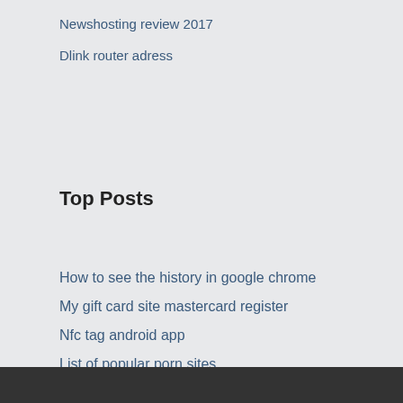Newshosting review 2017
Dlink router adress
Top Posts
How to see the history in google chrome
My gift card site mastercard register
Nfc tag android app
List of popular porn sites
How to find last google searches